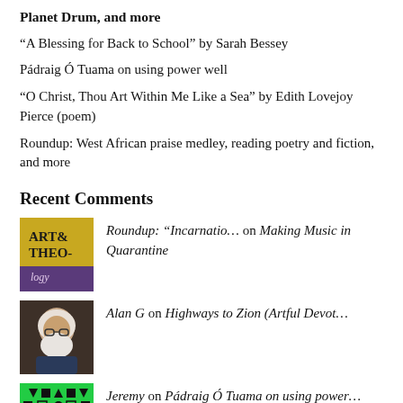Planet Drum, and more
“A Blessing for Back to School” by Sarah Bessey
Pádraig Ó Tuama on using power well
“O Christ, Thou Art Within Me Like a Sea” by Edith Lovejoy Pierce (poem)
Roundup: West African praise medley, reading poetry and fiction, and more
Recent Comments
Roundup: “Incarnatio… on Making Music in Quarantine
Alan G on Highways to Zion (Artful Devot…
Jeremy on Pádraig Ó Tuama on using power…